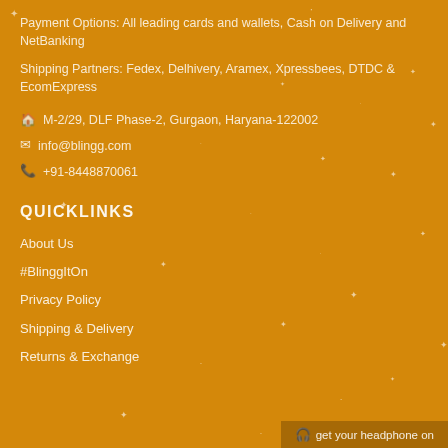Payment Options: All leading cards and wallets, Cash on Delivery and NetBanking
Shipping Partners: Fedex, Delhivery, Aramex, Xpressbees, DTDC & EcomExpress
M-2/29, DLF Phase-2, Gurgaon, Haryana-122002
info@blingg.com
+91-8448870061
QUICKLINKS
About Us
#BlinggItOn
Privacy Policy
Shipping & Delivery
Returns & Exchange
get your headphone on